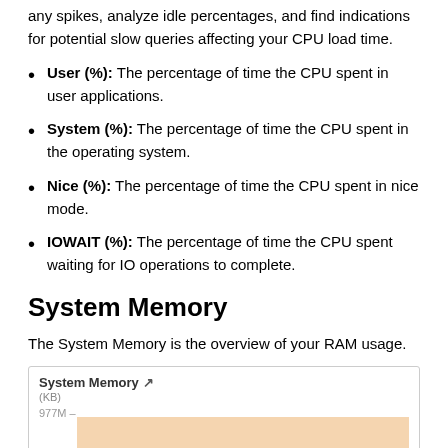any spikes, analyze idle percentages, and find indications for potential slow queries affecting your CPU load time.
User (%): The percentage of time the CPU spent in user applications.
System (%): The percentage of time the CPU spent in the operating system.
Nice (%): The percentage of time the CPU spent in nice mode.
IOWAIT (%): The percentage of time the CPU spent waiting for IO operations to complete.
System Memory
The System Memory is the overview of your RAM usage.
[Figure (area-chart): Area chart showing System Memory usage in KB, with a visible orange-shaded area starting at 977M on the y-axis.]